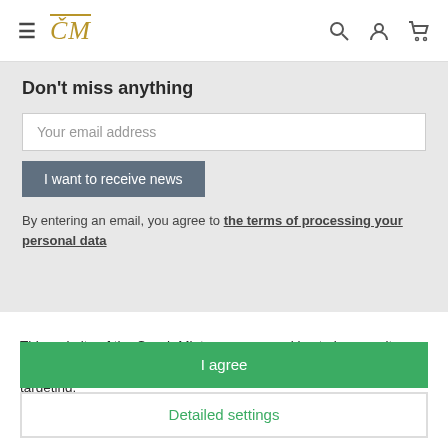≡ ĈM [search] [account] [cart]
Don't miss anything
Your email address
I want to receive news
By entering an email, you agree to the terms of processing your personal data
This website of the Czech Mint, a.s. uses cookies to improve its functionality, increase user comfort, traffic analysis, and better ad targeting.
For more information on cookies and privacy, click here.
I agree
Detailed settings